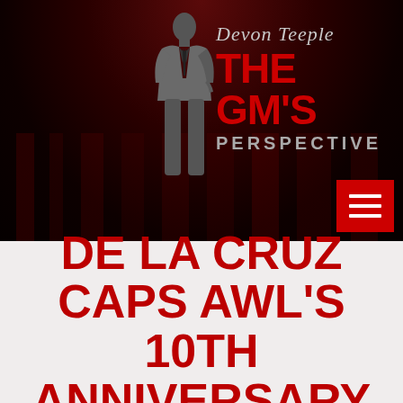[Figure (logo): Devon Teeple The GM's Perspective logo with silhouette of man in suit on dark red background with city skyline]
DE LA CRUZ CAPS AWL'S 10TH ANNIVERSARY